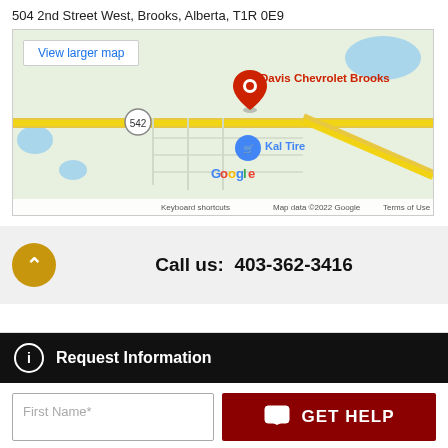504 2nd Street West, Brooks, Alberta, T1R 0E9
[Figure (map): Google Maps embed showing Davis Chevrolet Brooks location at 504 2nd Street West, Brooks, Alberta, with a red pin marker and Kal Tire nearby. 'View larger map' button visible top left. Map shows route 542.]
Call us: 403-362-3416
Request Information
First Name*
GET HELP